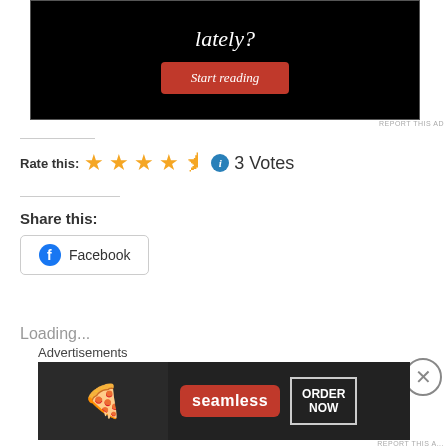[Figure (screenshot): Black advertisement banner with italic white text reading 'lately?' and a red 'Start reading' button]
REPORT THIS AD
Rate this: ★★★★½ ℹ 3 Votes
Share this:
Facebook
Loading...
Advertisements
[Figure (screenshot): Seamless food delivery advertisement banner with pizza image, Seamless red logo, and ORDER NOW button]